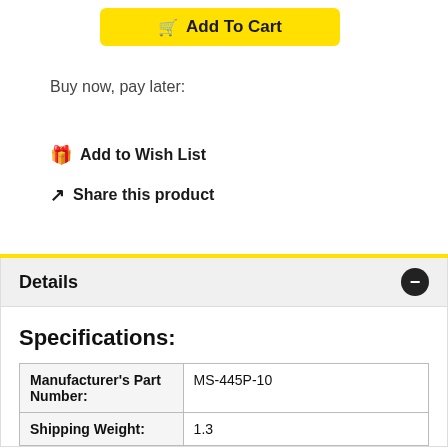[Figure (other): Add To Cart yellow button with shopping cart icon]
Buy now, pay later:
Add to Wish List
Share this product
Details
Specifications:
|  |  |
| --- | --- |
| Manufacturer's Part Number: | MS-445P-10 |
| Shipping Weight: | 1.3 |